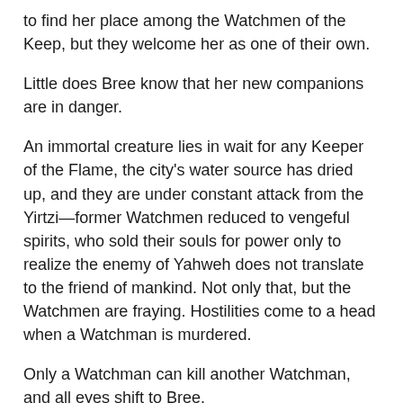to find her place among the Watchmen of the Keep, but they welcome her as one of their own.
Little does Bree know that her new companions are in danger.
An immortal creature lies in wait for any Keeper of the Flame, the city's water source has dried up, and they are under constant attack from the Yirtzi—former Watchmen reduced to vengeful spirits, who sold their souls for power only to realize the enemy of Yahweh does not translate to the friend of mankind. Not only that, but the Watchmen are fraying. Hostilities come to a head when a Watchman is murdered.
Only a Watchman can kill another Watchman, and all eyes shift to Bree.
Bree finds herself faced with a choice. Does she engineer the betrayal of the powerful city, or does she embrace her destiny as a true Watchman of Yahweh and find the killer before it's too late?